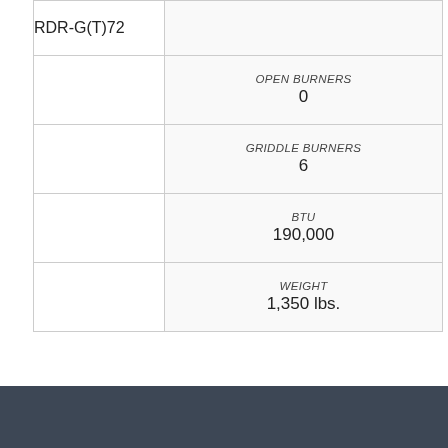| Model | Specification | Value |
| --- | --- | --- |
| RDR-G(T)72 | OPEN BURNERS | 0 |
|  | GRIDDLE BURNERS | 6 |
|  | BTU | 190,000 |
|  | WEIGHT | 1,350 lbs. |